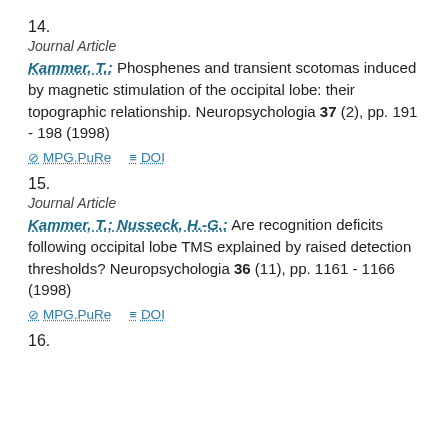14.
Journal Article
Kammer, T.: Phosphenes and transient scotomas induced by magnetic stimulation of the occipital lobe: their topographic relationship. Neuropsychologia 37 (2), pp. 191 - 198 (1998)
MPG.PuRe   DOI
15.
Journal Article
Kammer, T.; Nusseck, H.-G.: Are recognition deficits following occipital lobe TMS explained by raised detection thresholds? Neuropsychologia 36 (11), pp. 1161 - 1166 (1998)
MPG.PuRe   DOI
16.